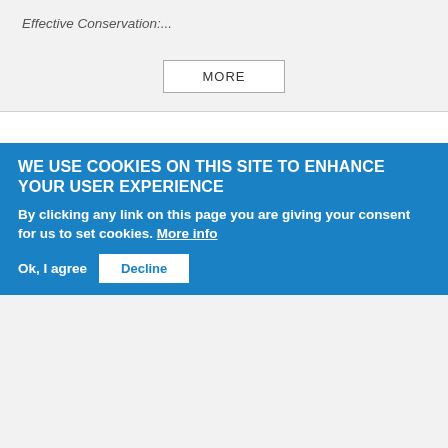Effective Conservation:...
MORE
AUTHOR'S FORUM—ARBITRARY LINES
Type of content: Video
Author Nolan Gray discussed his new book, Arbitrary Lines: How Zoning Broke the American City and How to Fix It. Urban
WE USE COOKIES ON THIS SITE TO ENHANCE YOUR USER EXPERIENCE
By clicking any link on this page you are giving your consent for us to set cookies. More info
Ok, I agree   Decline